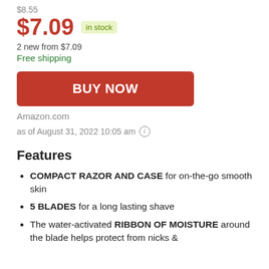$8.55
$7.09 in stock
2 new from $7.09
Free shipping
BUY NOW
Amazon.com
as of August 31, 2022 10:05 am
Features
COMPACT RAZOR AND CASE for on-the-go smooth skin
5 BLADES for a long lasting shave
The water-activated RIBBON OF MOISTURE around the blade helps protect from nicks &